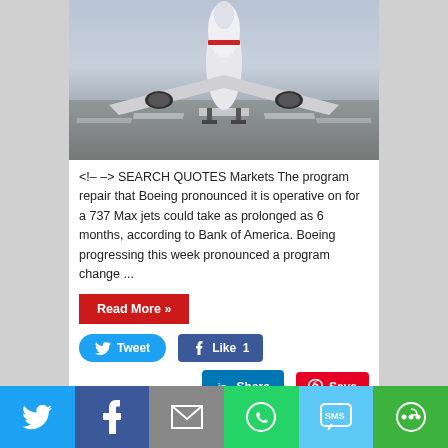[Figure (photo): Airplane (Boeing 737 Max) viewed from below/front on approach to runway, seen from behind with landing gear down, runway visible below]
<!-- --> SEARCH QUOTES Markets The program repair that Boeing pronounced it is operative on for a 737 Max jets could take as prolonged as 6 months, according to Bank of America. Boeing progressing this week pronounced a program change ...
Read More »
Tweet
Like 1
Share
Save